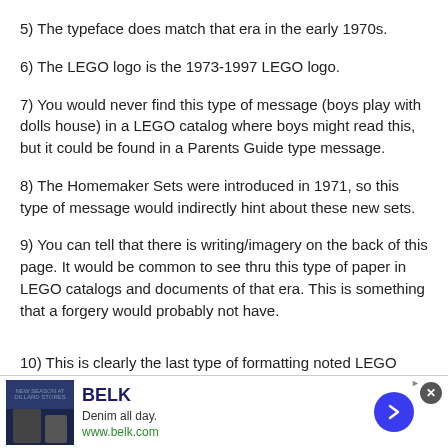5) The typeface does match that era in the early 1970s.
6) The LEGO logo is the 1973-1997 LEGO logo.
7) You would never find this type of message (boys play with dolls house) in a LEGO catalog where boys might read this, but it could be found in a Parents Guide type message.
8) The Homemaker Sets were introduced in 1971, so this type of message would indirectly hint about these new sets.
9) You can tell that there is writing/imagery on the back of this page. It would be common to see thru this type of paper in LEGO catalogs and documents of that era. This is something that a forgery would probably not have.
10) This is clearly the last...
[Figure (other): Advertisement banner for BELK clothing store. Shows 'BELK' in navy bold text, tagline 'Denim all day.', URL 'www.belk.com', with product image on left and blue arrow button on right.]